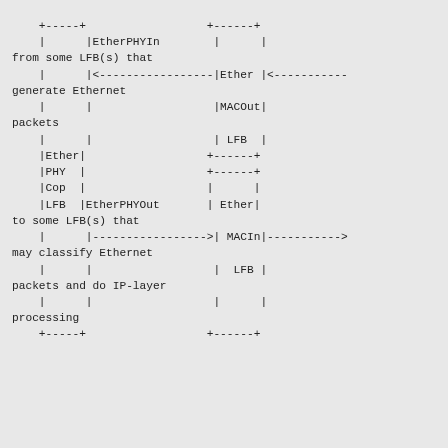[Figure (schematic): ASCII art network diagram showing EtherPHYIn, EtherPHYOut, EtherMAC LFB blocks with MACOut and MACIn ports connected by arrows, with text labels describing packet flow: 'from some LFB(s) that generate Ethernet packets', 'to some LFB(s) that may classify Ethernet packets and do IP-layer processing']